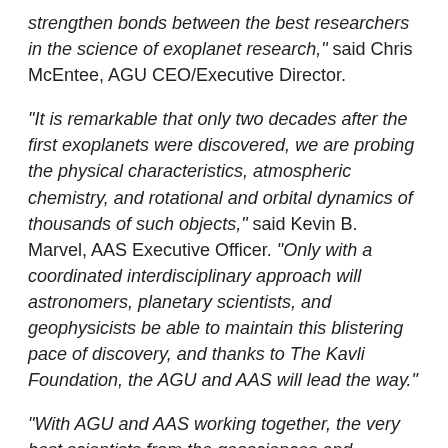strengthen bonds between the best researchers in the science of exoplanet research," said Chris McEntee, AGU CEO/Executive Director.
"It is remarkable that only two decades after the first exoplanets were discovered, we are probing the physical characteristics, atmospheric chemistry, and rotational and orbital dynamics of thousands of such objects," said Kevin B. Marvel, AAS Executive Officer. "Only with a coordinated interdisciplinary approach will astronomers, planetary scientists, and geophysicists be able to maintain this blistering pace of discovery, and thanks to The Kavli Foundation, the AGU and AAS will lead the way."
"With AGU and AAS working together, the very best scientists from the geosciences and astrophysics will be able to work together to enable the growth of the increasingly interdisciplinary field of exoplanetary